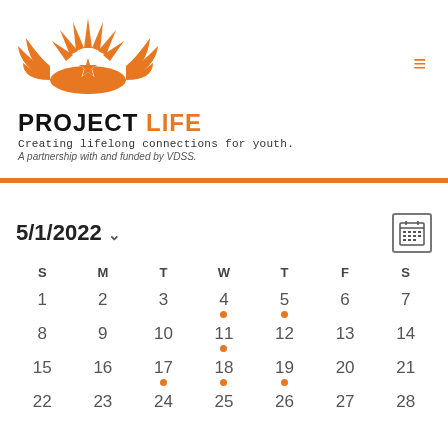[Figure (logo): Project Life logo: orange sunburst with a star, text 'PROJECT LIFE' below in bold black and orange, tagline 'Creating lifelong connections for youth.' and sub-tagline 'A partnership with and funded by VDSS.']
PROJECT LIFE
Creating lifelong connections for youth.
A partnership with and funded by VDSS.
5/1/2022
| S | M | T | W | T | F | S |
| --- | --- | --- | --- | --- | --- | --- |
| 1 | 2 | 3 | 4• | 5• | 6 | 7 |
| 8 | 9 | 10 | 11• | 12 | 13 | 14 |
| 15 | 16 | 17• | 18• | 19• | 20 | 21 |
| 22 | 23 | 24 | 25 | 26 | 27 | 28 |